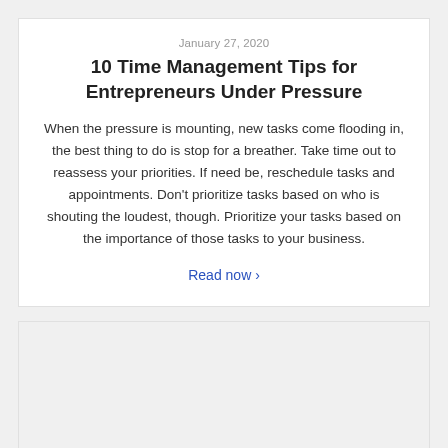January 27, 2020
10 Time Management Tips for Entrepreneurs Under Pressure
When the pressure is mounting, new tasks come flooding in, the best thing to do is stop for a breather. Take time out to reassess your priorities. If need be, reschedule tasks and appointments. Don't prioritize tasks based on who is shouting the loudest, though. Prioritize your tasks based on the importance of those tasks to your business.
Read now ›
[Figure (other): Gray empty card/box at bottom of page]